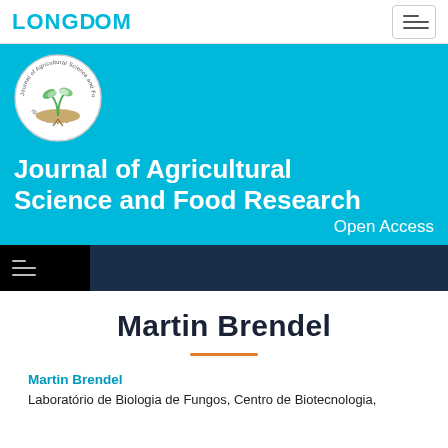LONGDOM
[Figure (logo): Journal of Agricultural Science and Food Research circular badge logo with plant illustration and ISSN: 2593-9173]
Journal of Agricultural Science and Food Research
Open Access
Martin Brendel
Martin Brendel
Laboratório de Biologia de Fungos, Centro de Biotecnologia,